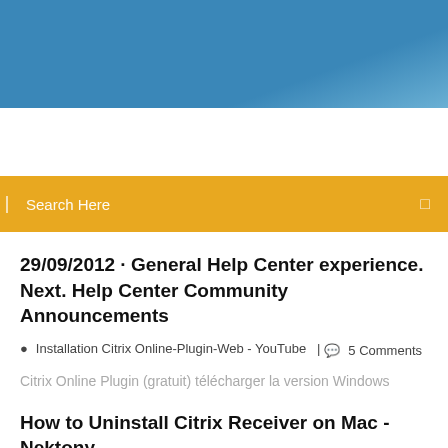[Figure (photo): Blue sky gradient header image background]
Search Here
29/09/2012 · General Help Center experience. Next. Help Center Community Announcements
Installation Citrix Online-Plugin-Web - YouTube  |  5 Comments
Citrix Online Plugin (gratuit) télécharger la version Windows
How to Uninstall Citrix Receiver on Mac - Nektony